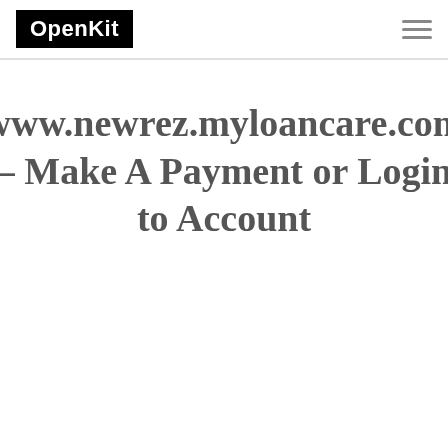OpenKit
www.newrez.myloancare.com – Make A Payment or Login to Account